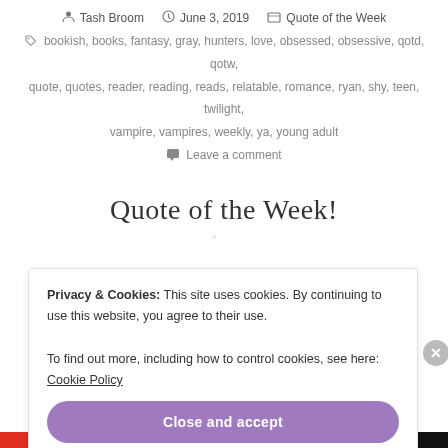Tash Broom · June 3, 2019 · Quote of the Week
bookish, books, fantasy, gray, hunters, love, obsessed, obsessive, qotd, qotw, quote, quotes, reader, reading, reads, relatable, romance, ryan, shy, teen, twilight, vampire, vampires, weekly, ya, young adult
Leave a comment
Quote of the Week!
Privacy & Cookies: This site uses cookies. By continuing to use this website, you agree to their use. To find out more, including how to control cookies, see here: Cookie Policy
Close and accept